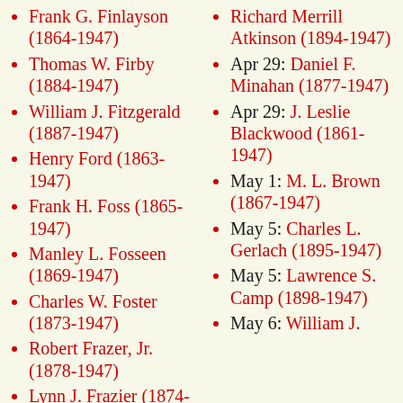Frank G. Finlayson (1864-1947)
Thomas W. Firby (1884-1947)
William J. Fitzgerald (1887-1947)
Henry Ford (1863-1947)
Frank H. Foss (1865-1947)
Manley L. Fosseen (1869-1947)
Charles W. Foster (1873-1947)
Robert Frazer, Jr. (1878-1947)
Lynn J. Frazier (1874-1947)
Richard Merrill Atkinson (1894-1947)
Apr 29: Daniel F. Minahan (1877-1947)
Apr 29: J. Leslie Blackwood (1861-1947)
May 1: M. L. Brown (1867-1947)
May 5: Charles L. Gerlach (1895-1947)
May 5: Lawrence S. Camp (1898-1947)
May 6: William J.